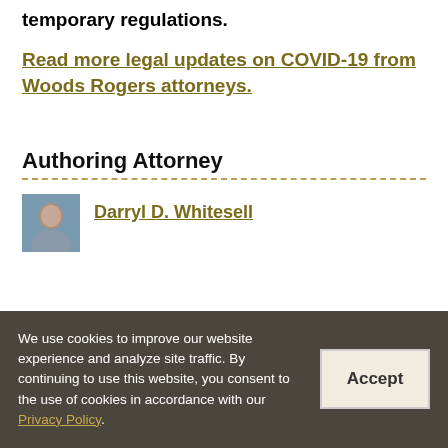temporary regulations.
Read more legal updates on COVID-19 from Woods Rogers attorneys.
Authoring Attorney
Darryl D. Whitesell
We use cookies to improve our website experience and analyze site traffic. By continuing to use this website, you consent to the use of cookies in accordance with our Privacy Policy.